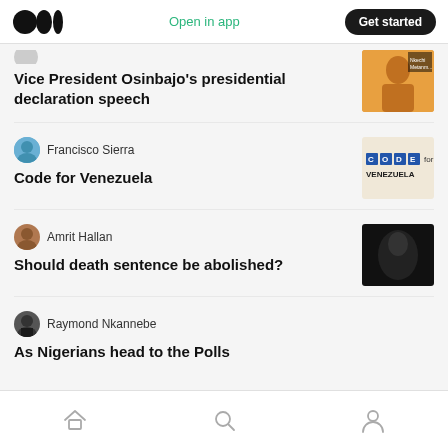Medium app header with logo, Open in app, Get started
Vice President Osinbajo's presidential declaration speech
Francisco Sierra
Code for Venezuela
Amrit Hallan
Should death sentence be abolished?
Raymond Nkannebe
As Nigerians head to the Polls
Bottom navigation: Home, Search, Profile